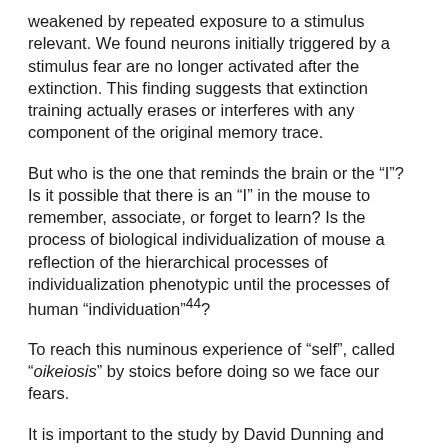weakened by repeated exposure to a stimulus relevant. We found neurons initially triggered by a stimulus fear are no longer activated after the extinction. This finding suggests that extinction training actually erases or interferes with any component of the original memory trace.
But who is the one that reminds the brain or the “I”? Is it possible that there is an “I” in the mouse to remember, associate, or forget to learn? Is the process of biological individualization of mouse a reflection of the hierarchical processes of individualization phenotypic until the processes of human “individuation”⁴⁴?
To reach this numinous experience of “self”, called “oikeiosis” by stoics before doing so we face our fears.
It is important to the study by David Dunning and Emily Balcetis of Cornell University of Ithaca, N.Y. where they have given the clue that not everything that we as real is real⁴⁵. Participants of an examination of self-prediction overestimated the likelihood that they would compromise the desirable behaviors.